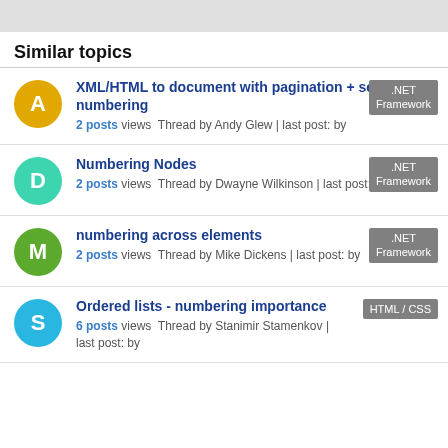Similar topics
XML/HTML to document with pagination + section numbering — 2 posts views Thread by Andy Glew | last post: by — .NET Framework
Numbering Nodes — 2 posts views Thread by Dwayne Wilkinson | last post: by — .NET Framework
numbering across elements — 2 posts views Thread by Mike Dickens | last post: by — .NET Framework
Ordered lists - numbering importance — 6 posts views Thread by Stanimir Stamenkov | last post: by — HTML / CSS